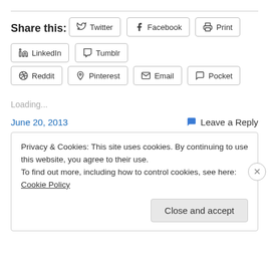Share this:
Twitter
Facebook
Print
LinkedIn
Tumblr
Reddit
Pinterest
Email
Pocket
Loading...
June 20, 2013
Leave a Reply
Privacy & Cookies: This site uses cookies. By continuing to use this website, you agree to their use.
To find out more, including how to control cookies, see here: Cookie Policy
Close and accept